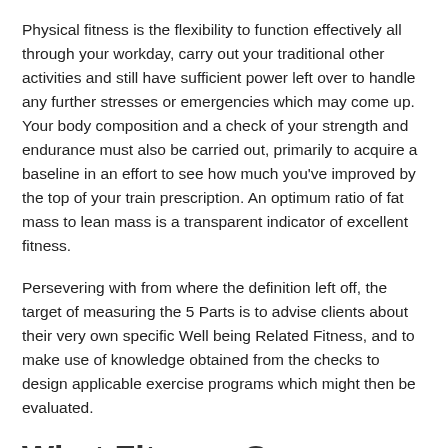Physical fitness is the flexibility to function effectively all through your workday, carry out your traditional other activities and still have sufficient power left over to handle any further stresses or emergencies which may come up. Your body composition and a check of your strength and endurance must also be carried out, primarily to acquire a baseline in an effort to see how much you've improved by the top of your train prescription. An optimum ratio of fat mass to lean mass is a transparent indicator of excellent fitness.
Persevering with from where the definition left off, the target of measuring the 5 Parts is to advise clients about their very own specific Well being Related Fitness, and to make use of knowledge obtained from the checks to design applicable exercise programs which might then be evaluated.
What Fitness Courses And Packages Do Most Gyms Supply?